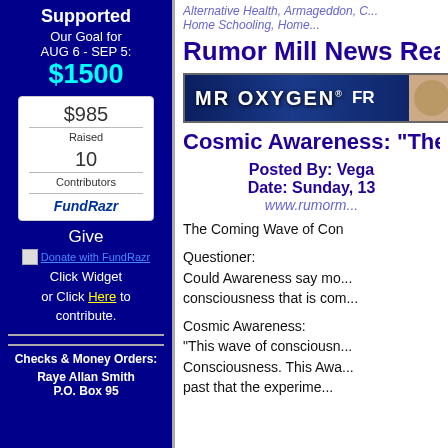Supported
Our Goal for AUG 6 - SEP 5: $1500
| $985 | Raised |
| 10 | Contributors |
| FundRazr |
Give
[Figure (other): Broken image link for FundRazr widget]
Click Widget or Click Here to contribute.
Checks & Money Orders:
Raye Allan Smith
P.O. Box 95
Alternative Health, Armageddon, C...
Home Schooling, Home...
Rumor Mill News Readin
[Figure (other): MR OXYGEN FR... banner advertisement]
Cosmic Awareness: "The Co
Posted By: Vega
Date: Sunday, 13
www.rumorm...
The Coming Wave of Con

Questioner:
Could Awareness say mo... consciousness that is com...

Cosmic Awareness:
"This wave of consciousn... Consciousness. This Awa... past that the experime...